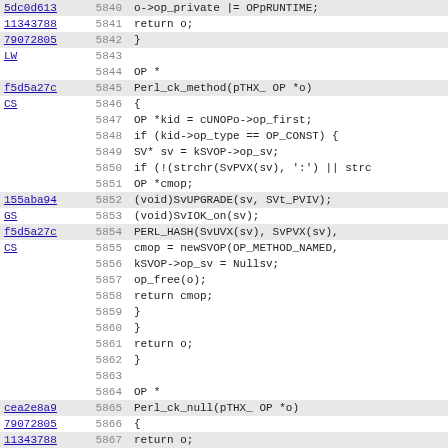[Figure (screenshot): Source code viewer showing C/Perl source code lines 5840-5871 with git blame annotations (commit hashes and author initials) in the left column, line numbers in the center column, and code in the right column.]